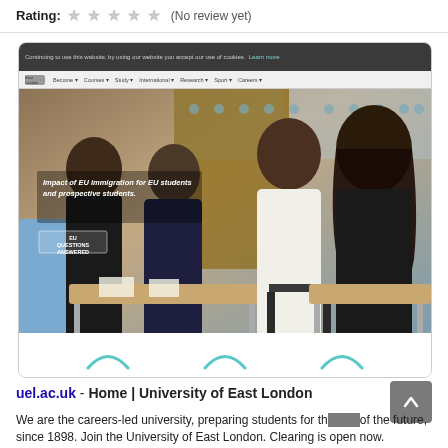Rating: (No review yet)
[Figure (screenshot): Screenshot of University of East London website (uel.ac.uk) showing the homepage with a photo of students in a classroom setting. Navigation bar with links: Become, Courses, Study, International, Research, Sport, Careers. Overlay text reads: Impact of EU immigration for EU students and prospective students.]
uel.ac.uk - Home | University of East London
We are the careers-led university, preparing students for the jobs of the future, since 1898. Join the University of East London. Clearing is open now.